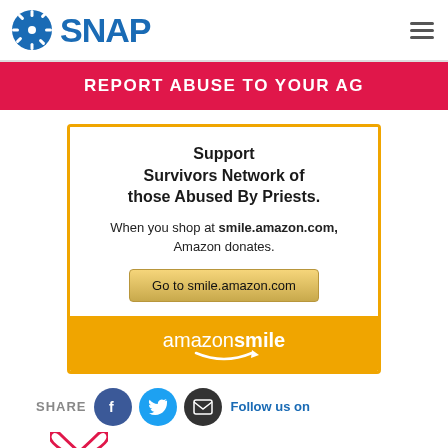SNAP
REPORT ABUSE TO YOUR AG
[Figure (infographic): Amazon Smile donation widget. White box with orange border showing 'Support Survivors Network of those Abused By Priests. When you shop at smile.amazon.com, Amazon donates.' with a button 'Go to smile.amazon.com' and an orange footer with 'amazonsmile' logo.]
SHARE Follow us on